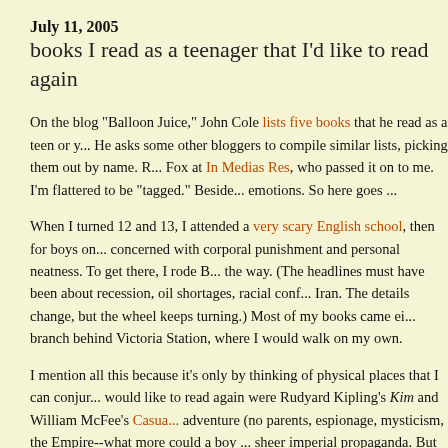July 11, 2005
books I read as a teenager that I'd like to read again
On the blog "Balloon Juice," John Cole lists five books that he read as a teen or y... He asks some other bloggers to compile similar lists, picking them out by name. R... Fox at In Medias Res, who passed it on to me. I'm flattered to be "tagged." Beside... emotions. So here goes ...
When I turned 12 and 13, I attended a very scary English school, then for boys on... concerned with corporal punishment and personal neatness. To get there, I rode B... the way. (The headlines must have been about recession, oil shortages, racial conf... Iran. The details change, but the wheel keeps turning.) Most of my books came ei... branch behind Victoria Station, where I would walk on my own.
I mention all this because it's only by thinking of physical places that I can conjur... would like to read again were Rudyard Kipling's Kim and William McFee's Casua... adventure (no parents, espionage, mysticism, the Empire--what more could a boy ... sheer imperial propaganda. But Pankraj Mishra's recent essay in the New York Re... (although I'd rather read Mishra himself). As for Casuals of the Sea--it was some ... conception in an extramarital sex scene that I shouldn't have read when I was 12 (... lived in London and worked on ships, but I remember little else.
During those years, I read a series of Napoleonic sea novels that traced the hero's...